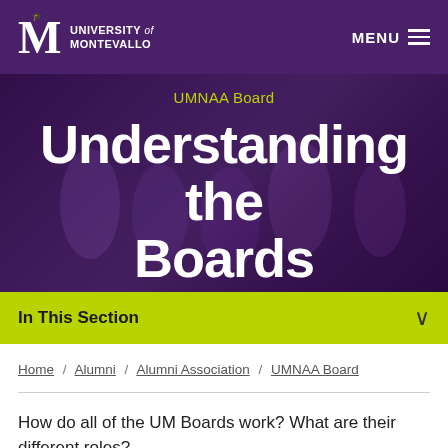University of Montevallo | MENU
UMNAA Board
Understanding the Boards
In This Section
Home / Alumni / Alumni Association / UMNAA Board
How do all of the UM Boards work? What are their different roles?